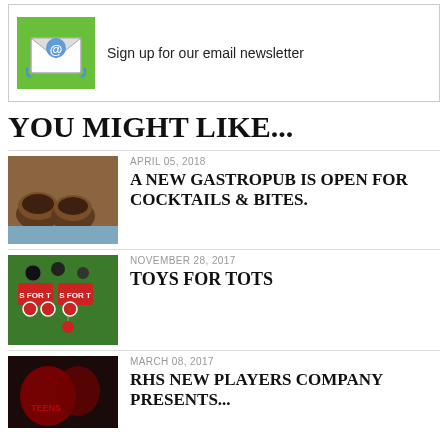Sign up for our email newsletter
YOU MIGHT LIKE...
APRIL 05, 2018
A NEW GASTROPUB IS OPEN FOR COCKTAILS & BITES.
[Figure (photo): Chocolate desserts on a blue surface]
NOVEMBER 28, 2017
TOYS FOR TOTS
[Figure (photo): Toys for Tots logo/signage]
MARCH 08, 2017
RHS NEW PLAYERS COMPANY PRESENTS...
[Figure (photo): Dark red theatrical image]